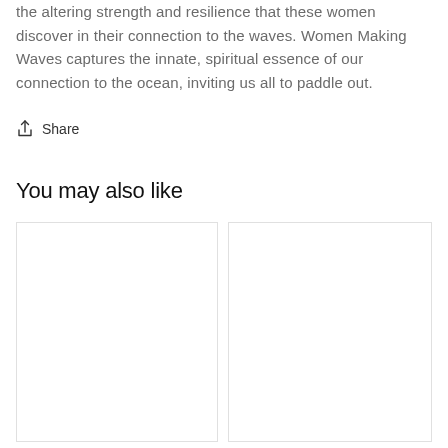the altering strength and resilience that these women discover in their connection to the waves. Women Making Waves captures the innate, spiritual essence of our connection to the ocean, inviting us all to paddle out.
Share
You may also like
[Figure (photo): Placeholder image card (left), appears blank/white with border]
[Figure (photo): Placeholder image card (right), appears blank/white with border]